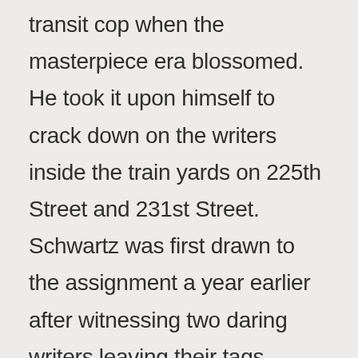transit cop when the masterpiece era blossomed. He took it upon himself to crack down on the writers inside the train yards on 225th Street and 231st Street. Schwartz was first drawn to the assignment a year earlier after witnessing two daring writers leaving their tags behind on the District 4 police station.

(The text continues with this d...